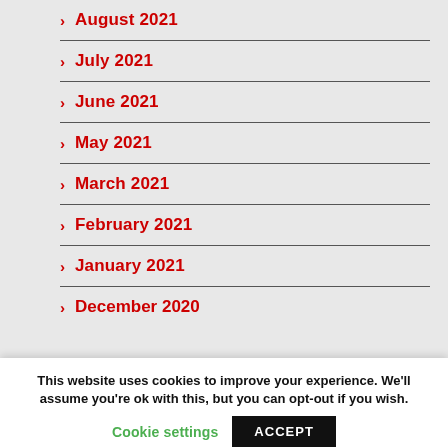August 2021
July 2021
June 2021
May 2021
March 2021
February 2021
January 2021
December 2020
This website uses cookies to improve your experience. We'll assume you're ok with this, but you can opt-out if you wish.
Cookie settings
ACCEPT